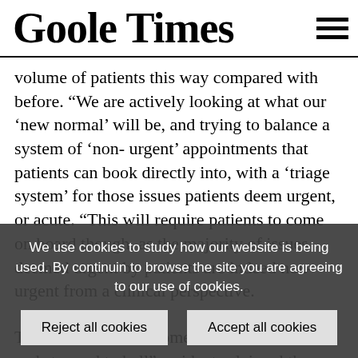Goole Times
volume of patients this way compared with before. “We are actively looking at what our ‘new normal’ will be, and trying to balance a system of ‘non-urgent’ appointments that patients can book directly into, with a ‘triage system’ for those issues patients deem urgent, or acute. “This will require patients to come on board though, as the majority of issues deemed urgent by patients are indeed non-urgent from a clinical perspective.
The announcement comes after “frustrated and stressed to hell” residents claimed they repeatedly app... appo... on... spe... try...
We use cookies to study how our website is being used. By continuing to browse the site you are agreeing to our use of cookies.